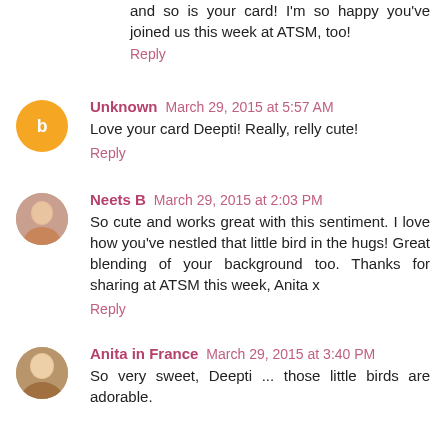and so is your card! I'm so happy you've joined us this week at ATSM, too!
Reply
Unknown  March 29, 2015 at 5:57 AM
Love your card Deepti! Really, relly cute!
Reply
Neets B  March 29, 2015 at 2:03 PM
So cute and works great with this sentiment. I love how you've nestled that little bird in the hugs! Great blending of your background too. Thanks for sharing at ATSM this week, Anita x
Reply
Anita in France  March 29, 2015 at 3:40 PM
So very sweet, Deepti ... those little birds are adorable.